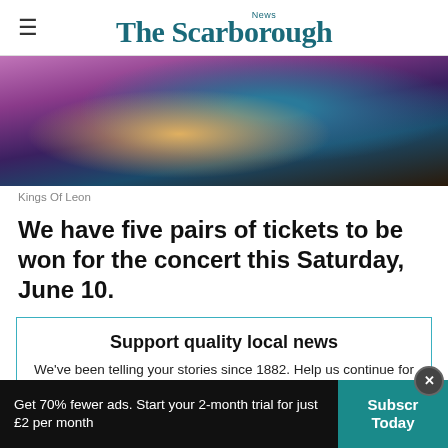The Scarborough News
[Figure (photo): Photo of Kings Of Leon band members, cropped showing lower bodies, sitting against a purple/pink background]
Kings Of Leon
We have five pairs of tickets to be won for the concert this Saturday, June 10.
Support quality local news
We've been telling your stories since 1882. Help us continue for generations to come by subscribing, and get access to the ad-lite version
Get 70% fewer ads. Start your 2-month trial for just £2 per month  |  Subscribe Today